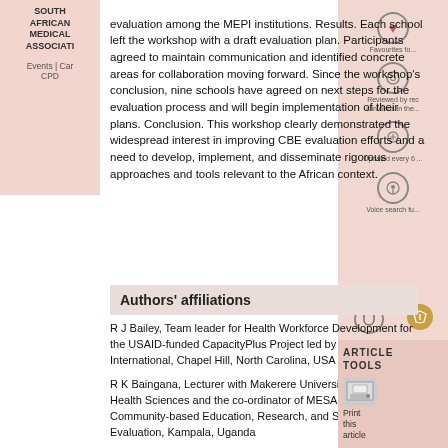SOUTH AFRICAN MEDICAL ASSOCIATION
Events | Car CPD
evaluation among the MEPI institutions. Results. Each school left the workshop with a draft evaluation plan. Participants agreed to maintain communication and identified concrete areas for collaboration moving forward. Since the workshop's conclusion, nine schools have agreed on next steps for the evaluation process and will begin implementation of their plans. Conclusion. This workshop clearly demonstrated the widespread interest in improving CBE evaluation efforts and a need to develop, implement, and disseminate rigorous approaches and tools relevant to the African context.
Authors' affiliations
R J Bailey, Team leader for Health Workforce Development for the USAID-funded CapacityPlus Project led by IntraHealth International, Chapel Hill, North Carolina, USA
R K Baingana, Lecturer with Makerere University College of Health Sciences and the co-ordinator of MESAU Consortium Community-based Education, Research, and Service Evaluation, Kampala, Uganda
I D Couper, Professor and director, Centre for Rural Health in the Faculty of Health Sciences, University of the Witwatersrand, Johannesburg, South Africa, and consultant to MEPI for the
ARTICLE TOOLS
Print this article
How to cite item